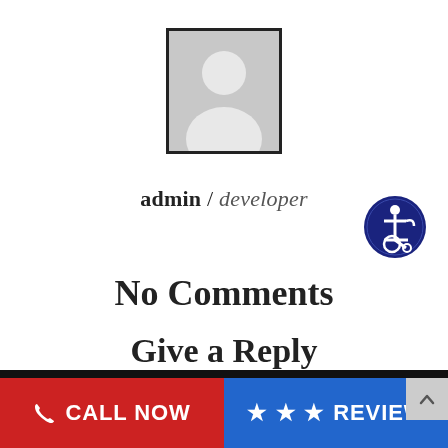[Figure (illustration): Grey placeholder avatar image with a silhouette of a person, surrounded by a dark border]
admin / developer
[Figure (logo): Blue circular accessibility icon showing a person in a wheelchair, white symbol on dark navy blue background]
No Comments
Give a Reply
Message
CALL NOW
REVIEW